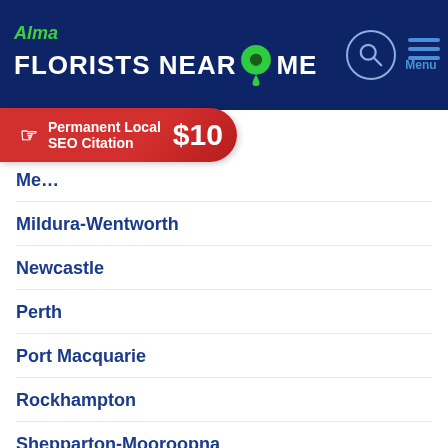[Figure (logo): Alma Florists Near Me website header with green location pin icon, search icon circle, and menu hamburger icon on dark navy background]
[Figure (infographic): Red pill-shaped advertisement banner: 'Permanent Local SEO Citation $10' with pointing hand cursor icon]
Me[lbourne] (partially obscured)
Mildura-Wentworth
Newcastle
Perth
Port Macquarie
Rockhampton
Shepparton-Mooroopna
Sunshine Coast
Sydney
Tamworth
Toowoomba
Townsville
Wagga Wagga